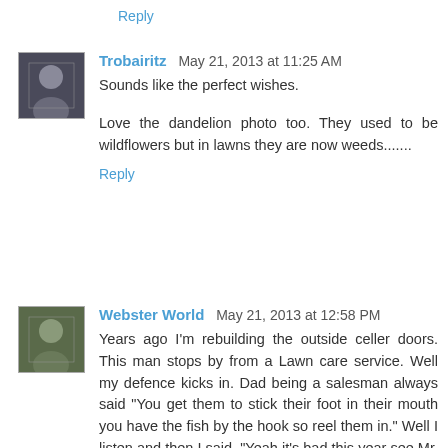Reply
Trobairitz  May 21, 2013 at 11:25 AM
Sounds like the perfect wishes.
Love the dandelion photo too. They used to be wildflowers but in lawns they are now weeds.......
Reply
Webster World  May 21, 2013 at 12:58 PM
Years ago I'm rebuilding the outside celler doors. This man stops by from a Lawn care service. Well my defence kicks in. Dad being a salesman always said "You get them to stick their foot in their mouth you have the fish by the hook so reel them in." Well I listen and then I said. "Yeah it's bad this year see Mr. Camps yard is dead so are those over there." He say's "They sure are." Well mine is all green. His response. "It's all crap grass and danderlions." Yeap BUT it's green! He left. Hope you twl love birds had a gtreat ride.